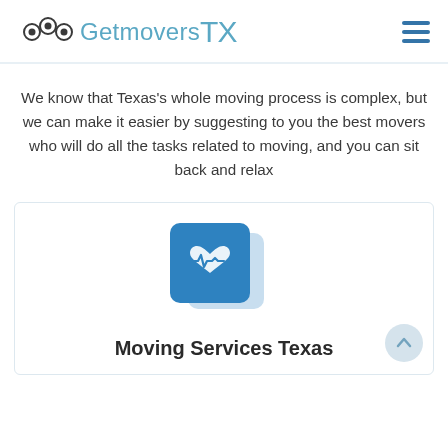GetmoversTX
We know that Texas's whole moving process is complex, but we can make it easier by suggesting to you the best movers who will do all the tasks related to moving, and you can sit back and relax
[Figure (illustration): Stacked card icon with heart/pulse symbol in blue, representing Moving Services Texas]
Moving Services Texas